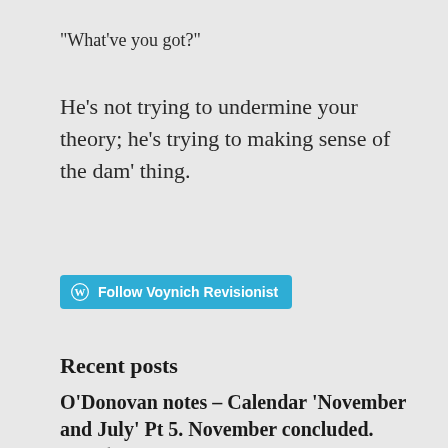"What've you got?"
He’s not trying to undermine your theory; he’s trying to making sense of the dam’ thing.
[Figure (other): WordPress Follow button with text 'Follow Voynich Revisionist' on a teal/blue background]
Recent posts
O’Donovan notes – Calendar ‘November and July’ Pt 5. November concluded.
September 5, 2022
‘Simple logic’ and the bestiaries. (Interim post)